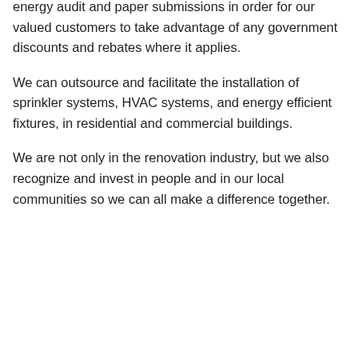energy audit and paper submissions in order for our valued customers to take advantage of any government discounts and rebates where it applies.
We can outsource and facilitate the installation of sprinkler systems, HVAC systems, and energy efficient fixtures, in residential and commercial buildings.
We are not only in the renovation industry, but we also recognize and invest in people and in our local communities so we can all make a difference together.